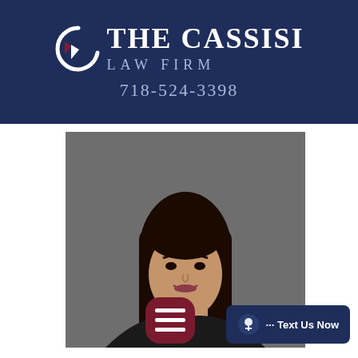[Figure (logo): The Cassisi Law Firm logo with stylized C icon on dark navy background, phone number 718-524-3398]
[Figure (photo): Professional headshot of a young woman with long dark hair wearing a black blazer with pink blouse, smiling, on grey background]
··· Text Us Now